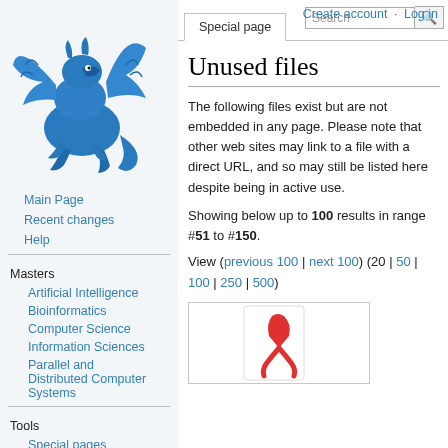Create account  Log in
[Figure (illustration): Blue griffin logo for a wiki-style educational site]
Main Page
Recent changes
Help
Masters
Artificial Intelligence
Bioinformatics
Computer Science
Information Sciences
Parallel and Distributed Computer Systems
Tools
Special pages
Printable version
Unused files
The following files exist but are not embedded in any page. Please note that other web sites may link to a file with a direct URL, and so may still be listed here despite being in active use.
Showing below up to 100 results in range #51 to #150.
View (previous 100 | next 100) (20 | 50 | 100 | 250 | 500)
[Figure (illustration): Thumbnail image showing a red AIDS ribbon on a white card background]